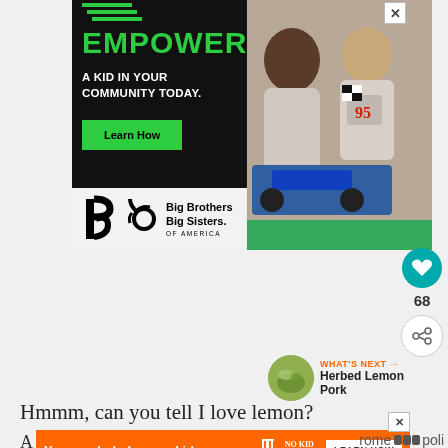[Figure (infographic): Big Brothers Big Sisters of America advertisement. Black background with green 'EMPOWER' headline, white text 'A KID IN YOUR COMMUNITY TODAY.' and a green 'Learn How' button. Photo of an adult man and a boy working on a remote-control car. BBBS logo at bottom.]
[Figure (infographic): Heart/like button (teal circle with heart icon) and share button below it. Like count showing 68.]
WHAT'S NEXT → Herbed Lemon Pork
Hmmm, can you tell I love lemon?
[Figure (infographic): Bottom banner ad: orange background with text 'You can help hungry kids.' No Kid Hungry logo. 'LEARN HOW' white button.]